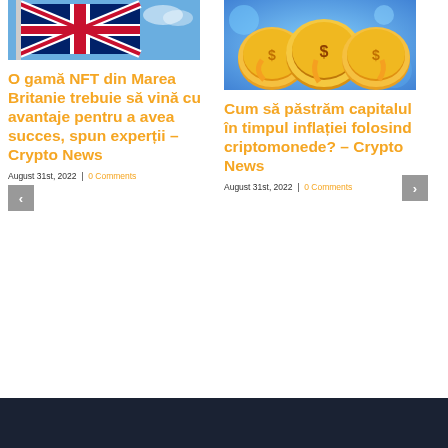[Figure (photo): UK flag (Union Jack) flying against a blue sky]
O gamă NFT din Marea Britanie trebuie să vină cu avantaje pentru a avea succes, spun experții – Crypto News
August 31st, 2022  |  0 Comments
[Figure (illustration): Cartoon crypto coins with faces raised up, colorful digital art background]
Cum să păstrăm capitalul în timpul inflației folosind criptomonede? – Crypto News
August 31st, 2022  |  0 Comments